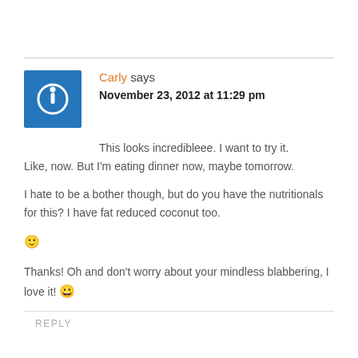Carly says
November 23, 2012 at 11:29 pm
This looks incredibleee. I want to try it. Like, now. But I'm eating dinner now, maybe tomorrow.
I hate to be a bother though, but do you have the nutritionals for this? I have fat reduced coconut too.
🙂
Thanks! Oh and don't worry about your mindless blabbering, I love it! 😀
REPLY